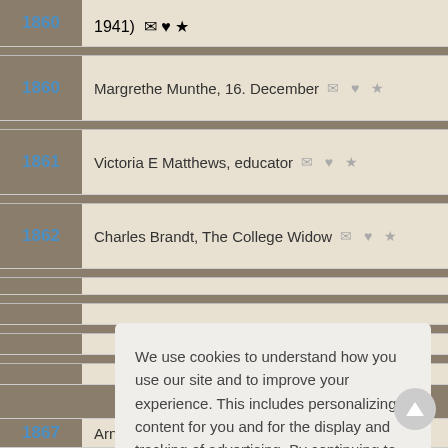1860 — (1941) [icons]
1860 — Margrethe Munthe, 16. December [icons]
1861 — Victoria E Matthews, educator [icons]
1862 — Charles Brandt, The College Widow [icons]
1867 — Arnold Bennett, The Promoter [icons]
We use cookies to understand how you use our site and to improve your experience. This includes personalizing content for you and for the display and tracking of advertising. By continuing to use our site, you accept and agree to our use of cookies. Privacy Policy
Got it!